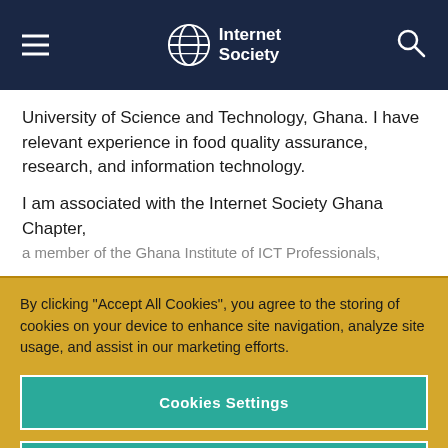Internet Society
University of Science and Technology, Ghana. I have relevant experience in food quality assurance, research, and information technology.

I am associated with the Internet Society Ghana Chapter, a member of the Ghana Institute of ICT Professionals,
By clicking “Accept All Cookies”, you agree to the storing of cookies on your device to enhance site navigation, analyze site usage, and assist in our marketing efforts.
Cookies Settings
Reject Optional Cookies
Accept All Cookies